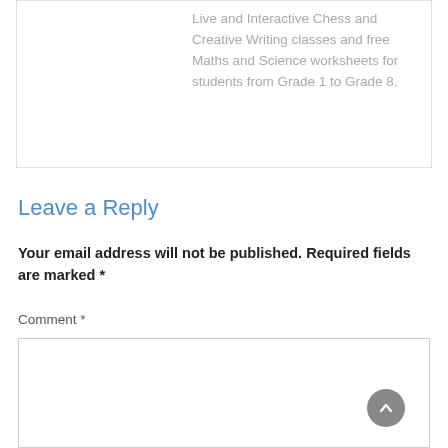Live and Interactive Chess and Creative Writing classes and free Maths and Science worksheets for students from Grade 1 to Grade 8.
Leave a Reply
Your email address will not be published. Required fields are marked *
Comment *